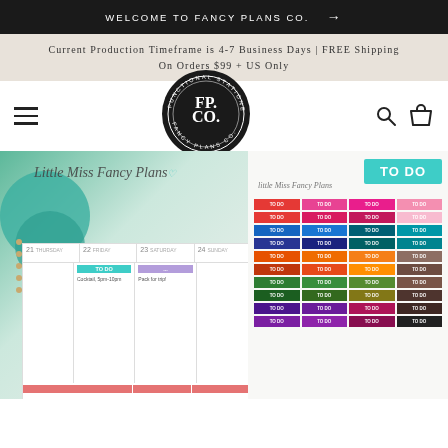WELCOME TO FANCY PLANS CO. →
Current Production Timeframe is 4-7 Business Days | FREE Shipping On Orders $99 + US Only
[Figure (logo): Fancy Plans Co. circular logo with FP CO. in center and text FUNCTIONAL STATIONERY and FANCY PLANS CO. around the ring]
[Figure (photo): Hero composite image showing a weekly planner spread with 'Little Miss Fancy Plans' script heading open to week 21-24, and a sticker sheet with colorful TO DO labels in multiple colors arranged in a grid]